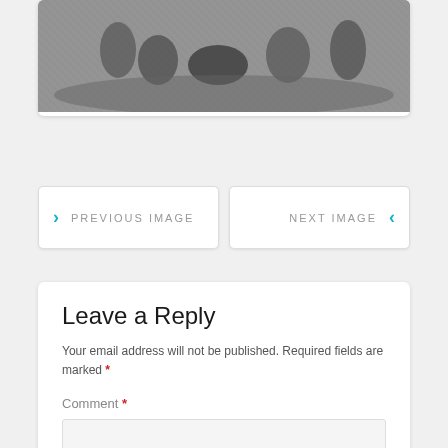[Figure (illustration): Historical engraving showing a battle or hunting scene with multiple figures in dynamic poses, rendered in black and white]
> PREVIOUS IMAGE
NEXT IMAGE <
Leave a Reply
Your email address will not be published. Required fields are marked *
Comment *